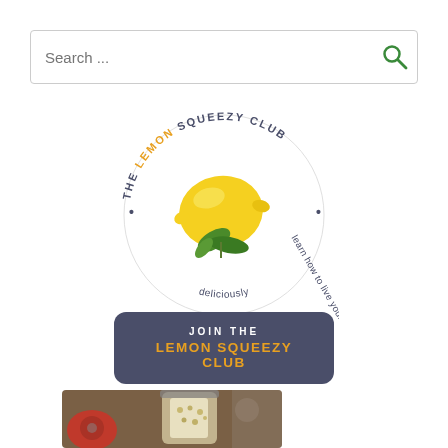[Figure (screenshot): Search bar with placeholder text 'Search ...' and a green magnifying glass icon on the right]
[Figure (logo): The Lemon Squeezy Club circular logo with a watercolor lemon and basil leaves in the center. Text around the circle reads: 'THE LEMON SQUEEZY CLUB • learn how to live your life deliciously']
[Figure (infographic): Dark gray rounded rectangle button with text 'JOIN THE' in white and 'LEMON SQUEEZY CLUB' in orange/yellow bold text]
[Figure (photo): Partial photo of food items including a glass jar with grains/oats, a red kitchen appliance, and blurred background items on a wooden surface]